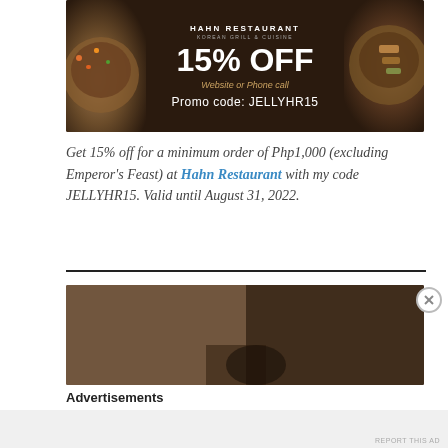[Figure (other): Hahn Restaurant promotional banner showing Korean Grill & Cuisine with food bowls on left and right, dark brown background. Text reads: HAHN RESTAURANT / KOREAN GRILL & CUISINE / 15% OFF / Website or Phone call / Promo code: JELLYHR15]
Get 15% off for a minimum order of Php1,000 (excluding Emperor's Feast) at Hahn Restaurant with my code JELLYHR15. Valid until August 31, 2022.
[Figure (photo): Dark brownish advertisement image, partially visible, appears to be a restaurant or food advertisement]
Advertisements